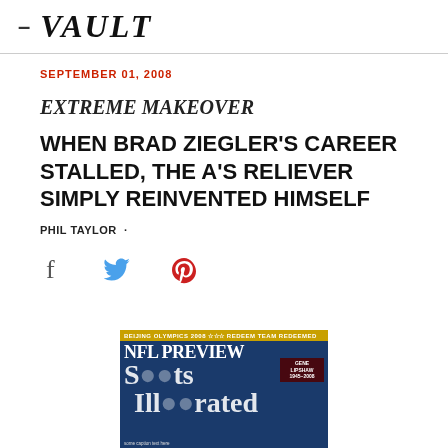— VAULT
SEPTEMBER 01, 2008
EXTREME MAKEOVER
WHEN BRAD ZIEGLER'S CAREER STALLED, THE A'S RELIEVER SIMPLY REINVENTED HIMSELF
PHIL TAYLOR ·
[Figure (other): Social media share icons: Facebook (f), Twitter (bird), Pinterest (P)]
[Figure (photo): Sports Illustrated magazine cover showing NFL Preview issue, September 2008. Cover text includes 'BEIJING OLYMPICS 2008 | REDEEM TEAM REDEEMED', 'NFL PREVIEW', 'Sports Illustrated', and a box mentioning 'GENE UPSHAW 1945-2008'. Shows a football player in a green Eagles uniform.]